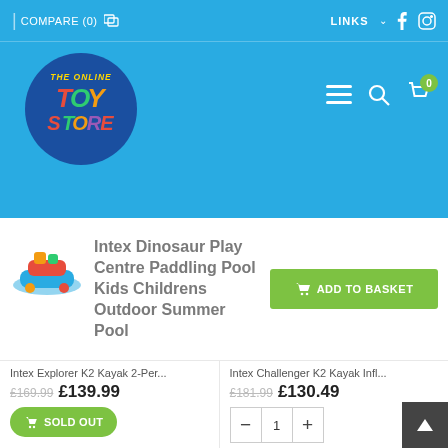COMPARE (0)  LINKS  f  [Instagram]
[Figure (logo): The Online Toy Store logo — circular dark blue background with colorful text]
Intex Dinosaur Play Centre Paddling Pool Kids Childrens Outdoor Summer Pool
ADD TO BASKET
Intex Explorer K2 Kayak 2-Per...
£169.99  £139.99
SOLD OUT
Intex Challenger K2 Kayak Infl...
£181.99  £130.49
1